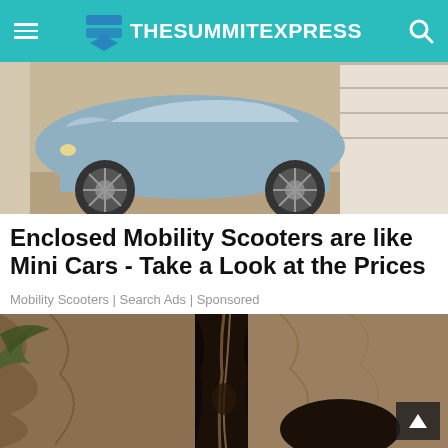TheSummitExpress
[Figure (photo): A blue/grey enclosed mobility scooter resembling a small car, shown from the front-left angle in what appears to be a showroom or garage setting.]
Enclosed Mobility Scooters are like Mini Cars - Take a Look at the Prices
Mobility Scooters | Search Ads | Sponsored
[Figure (photo): A dark narrow crack or crevice in rocky/earthen terrain with vegetation visible on the left side. A person or animal is partially visible descending into the gap.]